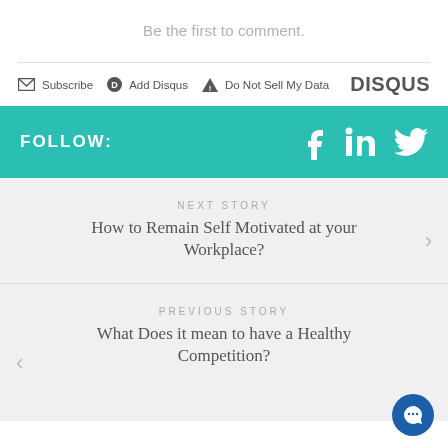Be the first to comment.
Subscribe  Add Disqus  Do Not Sell My Data  DISQUS
FOLLOW:
NEXT STORY
How to Remain Self Motivated at your Workplace?
PREVIOUS STORY
What Does it mean to have a Healthy Competition?